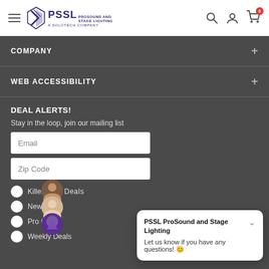PSSL ProSound and Stage Lighting — A Solotech Company
COMPANY
WEB ACCESSIBILITY
DEAL ALERTS!
Stay in the loop, join our mailing list
Email
Zip Code
Killer Daily Deals
N... Ge...
P... C...
Weekly Deals
PSSL ProSound and Stage Lighting
Let us know if you have any questions! 😊